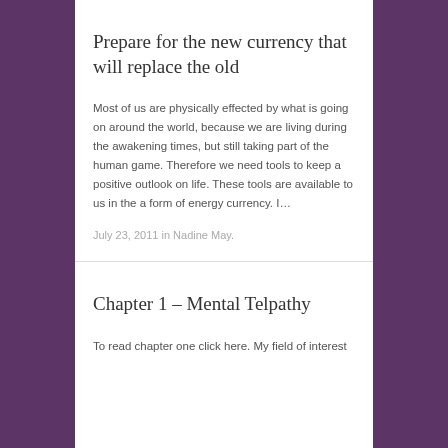Prepare for the new currency that will replace the old
Most of us are physically effected by what is going on around the world, because we are living during the awakening times, but still taking part of the human game. Therefore we need tools to keep a positive outlook on life. These tools are available to us in the a form of energy currency. I…
July 23, 2011 in Nadine May.
Chapter 1 – Mental Telpathy
To read chapter one click here. My field of interest